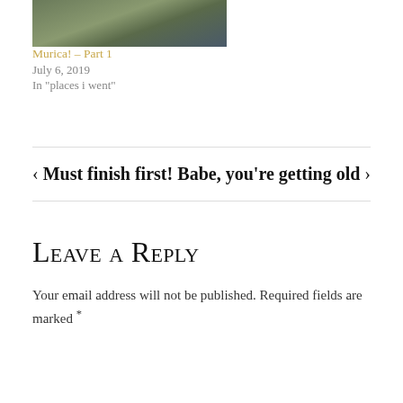[Figure (photo): Partial photo of a person outdoors in a garden/landscaped area]
Murica! – Part 1
July 6, 2019
In "places i went"
‹ Must finish first!
Babe, you're getting old ›
Leave a Reply
Your email address will not be published. Required fields are marked *